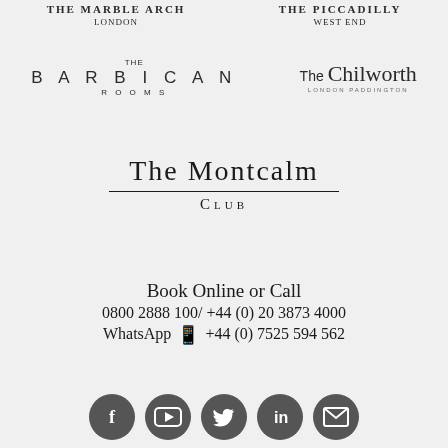[Figure (logo): The Marble Arch London hotel logo]
[Figure (logo): The Piccadilly West End hotel logo]
[Figure (logo): The Barbican Rooms logo]
[Figure (logo): The Chilworth London Paddington logo]
[Figure (logo): The Montcalm Club logo]
Book Online or Call
0800 2888 100/ +44 (0) 20 3873 4000
WhatsApp +44 (0) 7525 594 562
[Figure (illustration): Social media icons: Facebook, YouTube, Twitter, LinkedIn, Email]